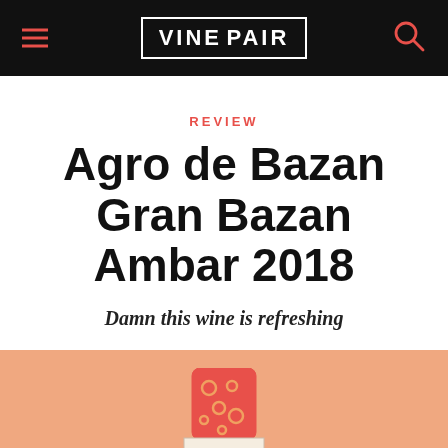VINEPAIR
REVIEW
Agro de Bazan Gran Bazan Ambar 2018
Damn this wine is refreshing
[Figure (illustration): Illustrated wine bottle top with orange/amber patterned capsule with circles, cream label band, and teal/dark green bottle body, on a peach/salmon background]